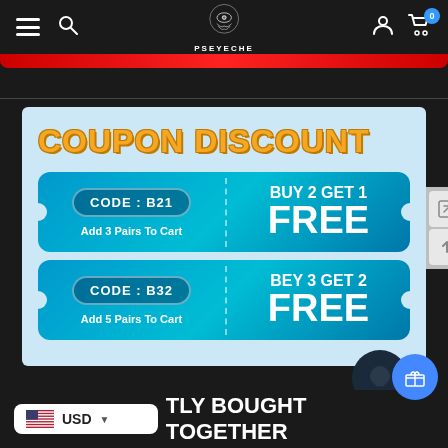[Figure (screenshot): PSEYECHE e-commerce website screenshot showing navigation bar with hamburger menu, search, logo (face with eye), account and cart icons. Below is a red accent bar, then a coupon discount promotional banner on light blue background with two ticket-style coupons: CODE B21 Buy 2 Get 1 Free (Add 3 Pairs To Cart) and CODE B32 Bey 3 Get 2 Free (Add 5 Pairs To Cart). Bottom shows USD currency selector and partial text 'TLY BOUGHT TOGETHER'.]